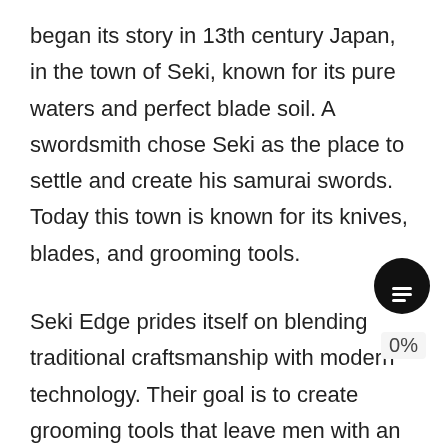began its story in 13th century Japan, in the town of Seki, known for its pure waters and perfect blade soil. A swordsmith chose Seki as the place to settle and create his samurai swords. Today this town is known for its knives, blades, and grooming tools.
Seki Edge prides itself on blending traditional craftsmanship with modern technology. Their goal is to create grooming tools that leave men with an exceptional experience. They achieve perfectly with their Takuminowaza Craftsman Luxury 9 Piece Grooming Kit.